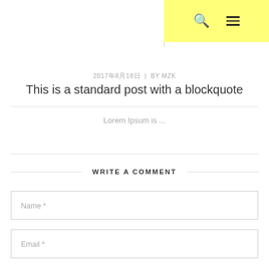2017年8月18日 | BY MZK
This is a standard post with a blockquote
Lorem Ipsum is ...
WRITE A COMMENT
Name *
Email *